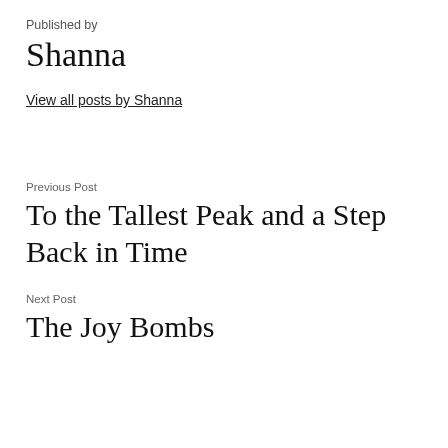Published by
Shanna
View all posts by Shanna
Previous Post
To the Tallest Peak and a Step Back in Time
Next Post
The Joy Bombs